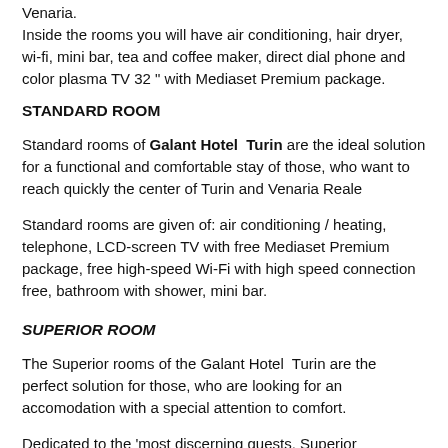Venaria.
Inside the rooms you will have air conditioning, hair dryer, wi-fi, mini bar, tea and coffee maker, direct dial phone and color plasma TV 32" with Mediaset Premium package.
STANDARD ROOM
Standard rooms of Galant Hotel  Turin are the ideal solution for a functional and comfortable stay of those, who want to reach quickly the center of Turin and Venaria Reale
Standard rooms are given of: air conditioning / heating, telephone, LCD-screen TV with free Mediaset Premium package, free high-speed Wi-Fi with high speed connection free, bathroom with shower, mini bar.
SUPERIOR ROOM
The Superior rooms of the Galant Hotel  Turin are the perfect solution for those, who are looking for an accomodation with a special attention to comfort.
Dedicated to the 'most discerning guests, Superior